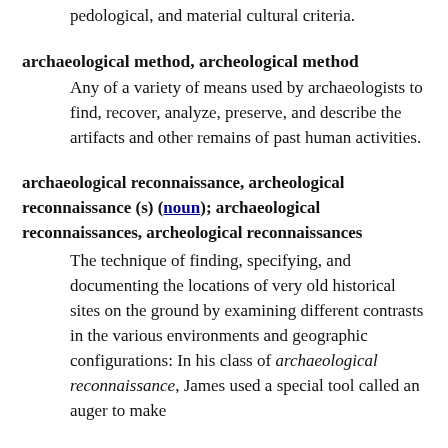pedological, and material cultural criteria.
archaeological method, archeological method
Any of a variety of means used by archaeologists to find, recover, analyze, preserve, and describe the artifacts and other remains of past human activities.
archaeological reconnaissance, archeological reconnaissance (s) (noun); archaeological reconnaissances, archeological reconnaissances
The technique of finding, specifying, and documenting the locations of very old historical sites on the ground by examining different contrasts in the various environments and geographic configurations: In his class of archaeological reconnaissance, James used a special tool called an auger to make